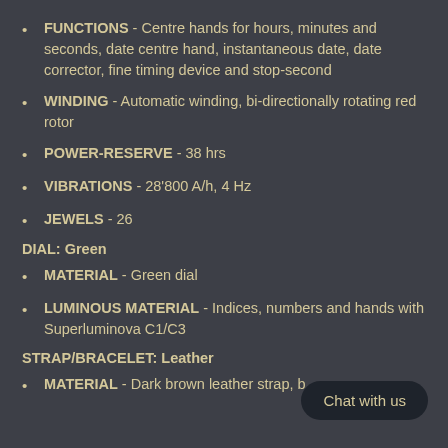FUNCTIONS - Centre hands for hours, minutes and seconds, date centre hand, instantaneous date, date corrector, fine timing device and stop-second
WINDING - Automatic winding, bi-directionally rotating red rotor
POWER-RESERVE - 38 hrs
VIBRATIONS - 28'800 A/h, 4 Hz
JEWELS - 26
DIAL: Green
MATERIAL - Green dial
LUMINOUS MATERIAL - Indices, numbers and hands with Superluminova C1/C3
STRAP/BRACELET: Leather
MATERIAL - Dark brown leather strap, b